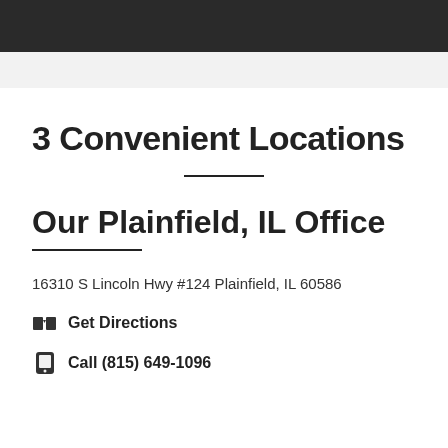[Figure (photo): Dark photograph strip at the top of the page]
3 Convenient Locations
Our Plainfield, IL Office
16310 S Lincoln Hwy #124 Plainfield, IL 60586
Get Directions
Call (815) 649-1096